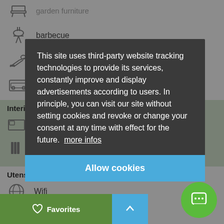garden furniture
barbecue
deck chair
parking
Interior equipment:
microwave
coffee machine
Utensils:
Wifi
washing machine
Sport facilities:
mountain-biking
This site uses third-party website tracking technologies to provide its services, constantly improve and display advertisements according to users. In principle, you can visit our site without setting cookies and revoke or change your consent at any time with effect for the future. more infos
Allow cookies
Favorites